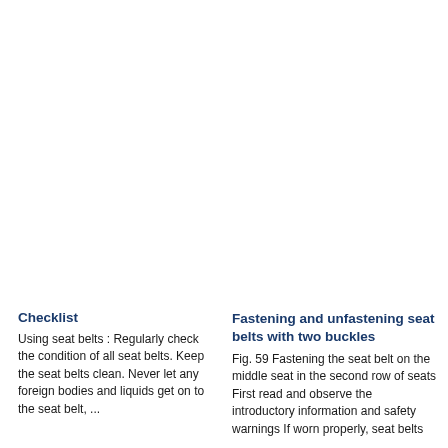Checklist
Using seat belts : Regularly check the condition of all seat belts. Keep the seat belts clean. Never let any foreign bodies and liquids get on to the seat belt, ...
Fastening and unfastening seat belts with two buckles
Fig. 59 Fastening the seat belt on the middle seat in the second row of seats First read and observe the introductory information and safety warnings If worn properly, seat belts hold...